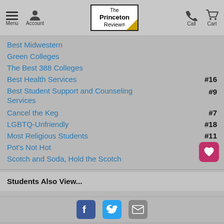The Princeton Review - Menu, Account, Call, Cart
Best Midwestern
Green Colleges
The Best 388 Colleges
Best Health Services #16
Best Student Support and Counseling Services #9
Cancel the Keg #7
LGBTQ-Unfriendly #18
Most Religious Students #11
Pot's Not Hot #10
Scotch and Soda, Hold the Scotch #9
Students Also View...